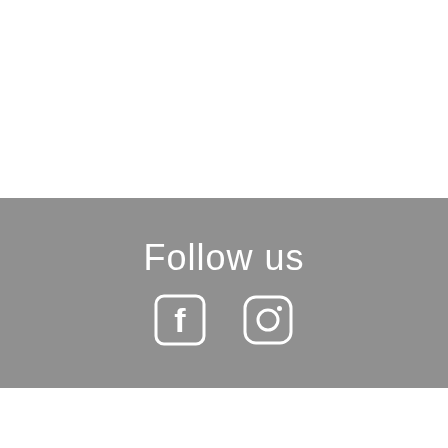[Figure (infographic): Gray banner with 'Follow us' text and Facebook and Instagram icons in white.]